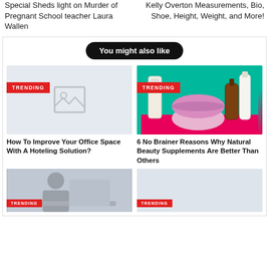Special Sheds light on Murder of Pregnant School teacher Laura Wallen
Kelly Overton Measurements, Bio, Shoe, Height, Weight, and More!
You might also like
[Figure (photo): Placeholder image thumbnail with image icon]
[Figure (photo): Beauty products photo on teal and pink background]
How To Improve Your Office Space With A Hoteling Solution?
6 No Brainer Reasons Why Natural Beauty Supplements Are Better Than Others
[Figure (photo): Person at desk, partial image at bottom left]
[Figure (photo): Partial image at bottom right, light background]